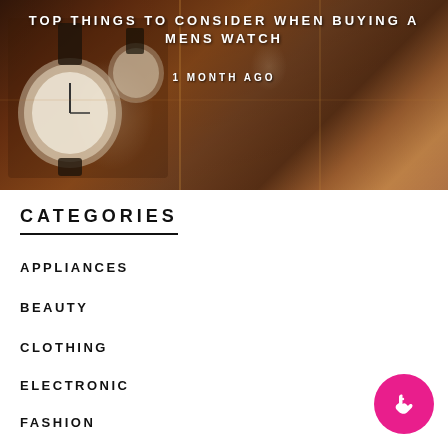[Figure (photo): Hero image showing luxury watches in a brown leather watch box, with text overlay 'TOP THINGS TO CONSIDER WHEN BUYING A MENS WATCH' and '1 MONTH AGO']
TOP THINGS TO CONSIDER WHEN BUYING A MENS WATCH
1 MONTH AGO
CATEGORIES
APPLIANCES
BEAUTY
CLOTHING
ELECTRONIC
FASHION